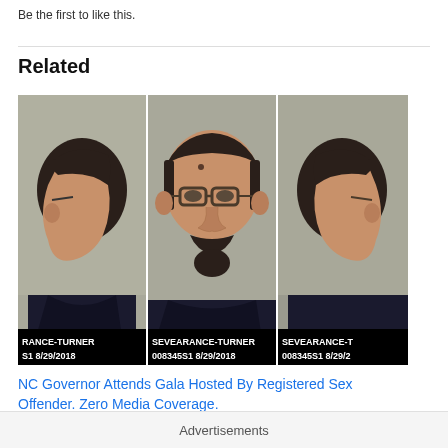Be the first to like this.
Related
[Figure (photo): Three-panel mugshot photo showing a man with dark hair and beard wearing glasses — left profile, front view, right profile. Text at bottom reads: RANCE-TURNER / S1 8/29/2018, SEVEARANCE-TURNER / 008345S1 8/29/2018, SEVEARANCE-T / 008345S1 8/29/2]
NC Governor Attends Gala Hosted By Registered Sex Offender. Zero Media Coverage.
December 29, 2018
Advertisements